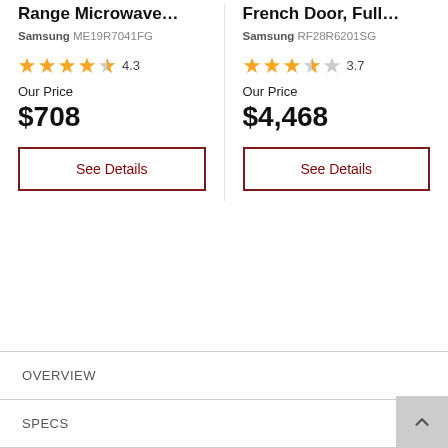Range Microwave…
Samsung ME19R7041FG
★★★★☆ 4.3
Our Price $708
See Details
French Door, Full…
Samsung RF28R6201SG
★★★½☆ 3.7
Our Price $4,468
See Details
OVERVIEW
SPECS